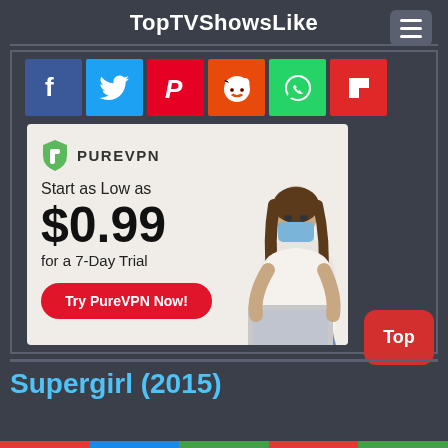TopTVShowsLike
[Figure (screenshot): Social sharing icons: Facebook (blue), Twitter (light blue), Pinterest (red), Reddit (orange), WhatsApp (green), Flipboard (red)]
[Figure (infographic): PureVPN advertisement banner: Start as Low as $0.99 for a 7-Day Trial. Try PureVPN Now! button. Woman wearing mask with laptop.]
Supergirl (2015)